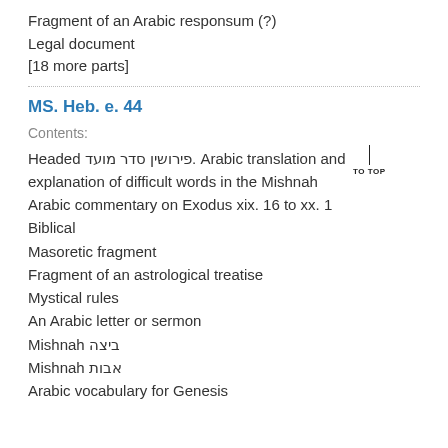Fragment of an Arabic responsum (?)
Legal document
[18 more parts]
MS. Heb. e. 44
Contents:
Headed פירושין סדר מועד. Arabic translation and explanation of difficult words in the Mishnah
Arabic commentary on Exodus xix. 16 to xx. 1
Biblical
Masoretic fragment
Fragment of an astrological treatise
Mystical rules
An Arabic letter or sermon
Mishnah ביצה
Mishnah אבות
Arabic vocabulary for Genesis